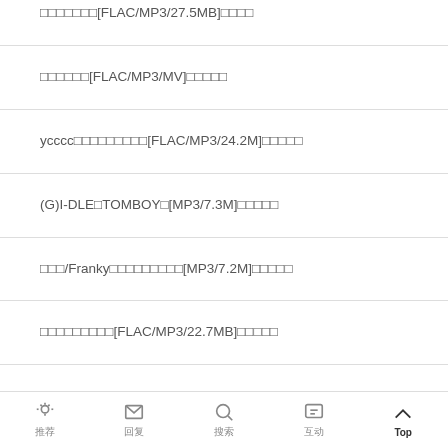□□□□□□□[FLAC/MP3/27.5MB]□□□□
□□□□□□[FLAC/MP3/MV]□□□□□
ycccc□□□□□□□□□[FLAC/MP3/24.2M]□□□□□
(G)I-DLE□TOMBOY□[MP3/7.3M]□□□□□
□□□/Franky□□□□□□□□□[MP3/7.2M]□□□□□
□□□□□□□□□[FLAC/MP3/22.7MB]□□□□□
推荐  回复  搜索  互动  Top